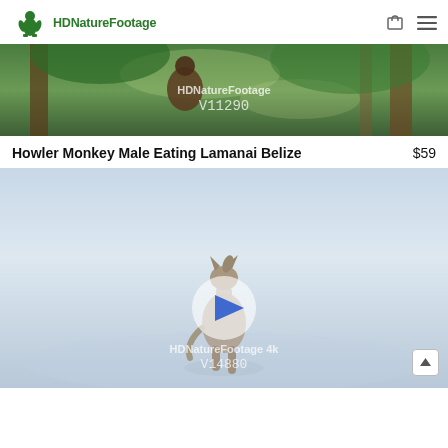HDNatureFootage — logo and navigation
[Figure (screenshot): Video thumbnail showing howler monkey in forest foliage with HDNatureFootage V11290 watermark]
Howler Monkey Male Eating Lamanai Belize    $59
[Figure (screenshot): Video thumbnail showing a wolf or coyote howling in snow with play button overlay and HDNatureFootage 4k V14880 watermark, scroll-to-top button in bottom right]